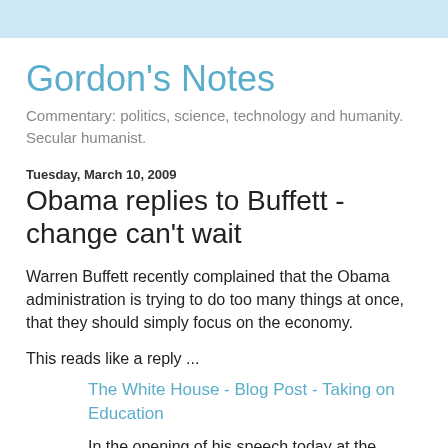Gordon's Notes
Commentary: politics, science, technology and humanity. Secular humanist.
Tuesday, March 10, 2009
Obama replies to Buffett - change can't wait
Warren Buffett recently complained that the Obama administration is trying to do too many things at once, that they should simply focus on the economy.
This reads like a reply ...
The White House - Blog Post - Taking on Education
In the opening of his speech today at the